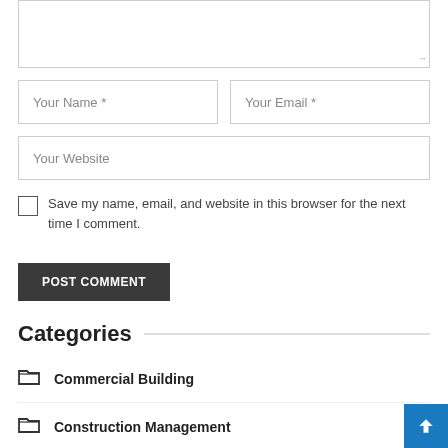[textarea stub — comment input area]
Your Name *
Your Email *
Your Website
Save my name, email, and website in this browser for the next time I comment.
POST COMMENT
Categories
Commercial Building
Construction Management